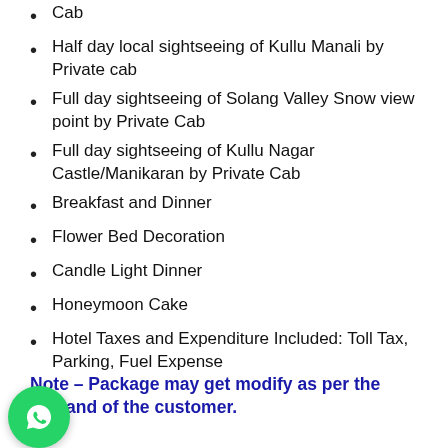Cab
Half day local sightseeing of Kullu Manali by Private cab
Full day sightseeing of Solang Valley Snow view point by Private Cab
Full day sightseeing of Kullu Nagar Castle/Manikaran by Private Cab
Breakfast and Dinner
Flower Bed Decoration
Candle Light Dinner
Honeymoon Cake
Hotel Taxes and Expenditure Included: Toll Tax, Parking, Fuel Expense
Note – Package may get modify as per the demand of the customer.